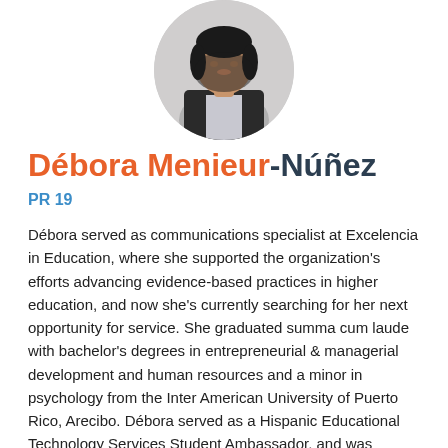[Figure (photo): Circular headshot photo of Débora Menieur-Núñez, a woman with dark hair wearing a black blazer over a patterned blouse, against a light background.]
Débora Menieur-Núñez
PR 19
Débora served as communications specialist at Excelencia in Education, where she supported the organization's efforts advancing evidence-based practices in higher education, and now she's currently searching for her next opportunity for service. She graduated summa cum laude with bachelor's degrees in entrepreneurial & managerial development and human resources and a minor in psychology from the Inter American University of Puerto Rico, Arecibo. Débora served as a Hispanic Educational Technology Services Student Ambassador, and was elected president of the Student Body Council, Comedy Club, and